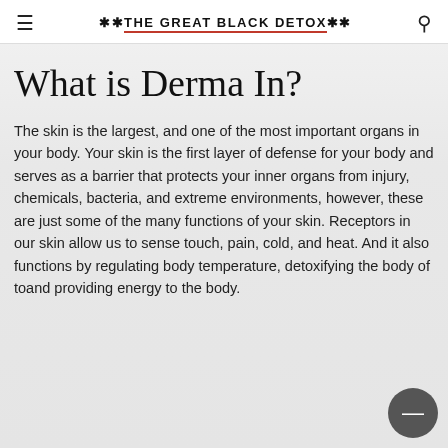≡  **THE GREAT BLACK DETOX**  🔍
What is Derma In?
The skin is the largest, and one of the most important organs in your body. Your skin is the first layer of defense for your body and serves as a barrier that protects your inner organs from injury, chemicals, bacteria, and extreme environments, however, these are just some of the many functions of your skin. Receptors in our skin allow us to sense touch, pain, cold, and heat. And it also functions by regulating body temperature, detoxifying the body of toxins, and providing energy to the body.